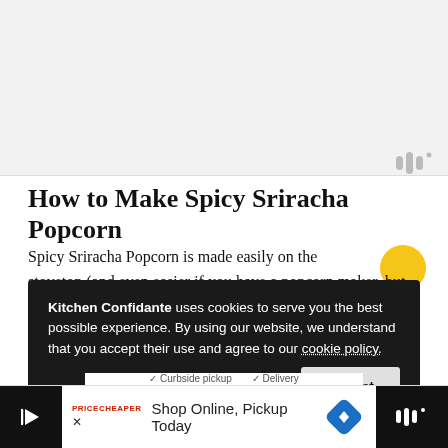[Figure (photo): Light gray/white image area at top of webpage, appears to be a food/recipe photo placeholder]
How to Make Spicy Sriracha Popcorn
Spicy Sriracha Popcorn is made easily on the stovetop (and even easier if you have a popcorn maker, but you don't have to have one!). While the popcorn pops, melt the butter and add in sriracha (1-2 teaspoons depending on how spicy you would like it!). Toss together with salt and enjoy while still warm!
Kitchen Confidante uses cookies to serve you the best possible experience. By using our website, we understand that you accept their use and agree to our cookie policy.   [Accept]
[Figure (screenshot): Bottom advertisement banner: Shop Online, Pickup Today with navigation icon and brand logos]